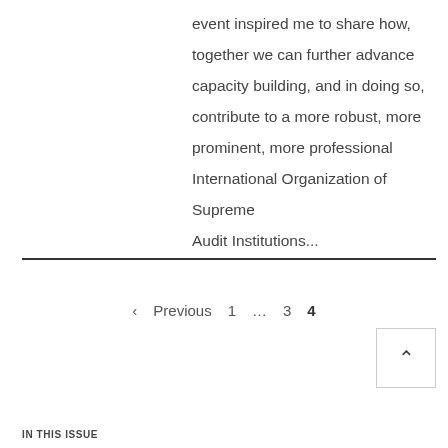event inspired me to share how, together we can further advance capacity building, and in doing so, contribute to a more robust, more prominent, more professional International Organization of Supreme Audit Institutions...
‹ Previous  1  …  3  4
IN THIS ISSUE